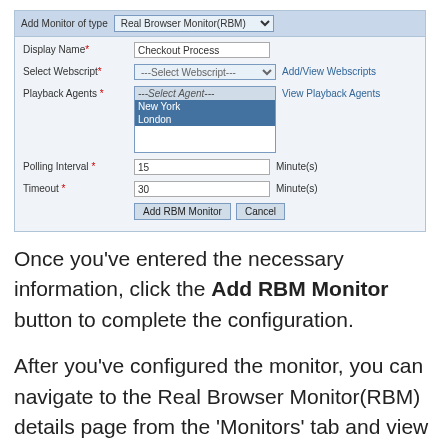[Figure (screenshot): A web form UI showing 'Add Monitor of type: Real Browser Monitor(RBM)' with fields: Display Name (Checkout Process), Select Webscript (dropdown), Playback Agents (listbox with New York and London selected), Polling Interval (15 Minutes), Timeout (30 Minutes), and Add RBM Monitor / Cancel buttons.]
Once you've entered the necessary information, click the Add RBM Monitor button to complete the configuration.
After you've configured the monitor, you can navigate to the Real Browser Monitor(RBM) details page from the 'Monitors' tab and view the performance metrics collected by Applications Manager.